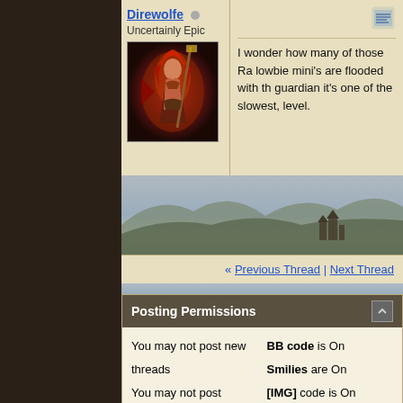Direwolfe
Uncertainly Epic
[Figure (illustration): Avatar image of a fantasy female warrior character with red hair against a dark background]
I wonder how many of those Ra lowbie mini's are flooded with th guardian it's one of the slowest, level.
« Previous Thread | Next Thread
Posting Permissions
You may not post new threads
You may not post replies
You may not post attachments
You may not edit your posts
BB code is On
Smilies are On
[IMG] code is On
[VIDEO] code is On
HTML code is Off
Forum Rules